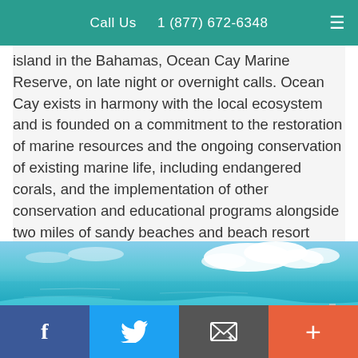Call Us   1 (877) 672-6348
island in the Bahamas, Ocean Cay Marine Reserve, on late night or overnight calls. Ocean Cay exists in harmony with the local ecosystem and is founded on a commitment to the restoration of marine resources and the ongoing conservation of existing marine life, including endangered corals, and the implementation of other conservation and educational programs alongside two miles of sandy beaches and beach resort activities.
[Figure (photo): Aerial view of Ocean Cay Marine Reserve island in the Bahamas showing turquoise waters, sandy beaches, and a cruise ship docked nearby under a blue sky with clouds.]
f  [twitter bird]  [email icon]  +